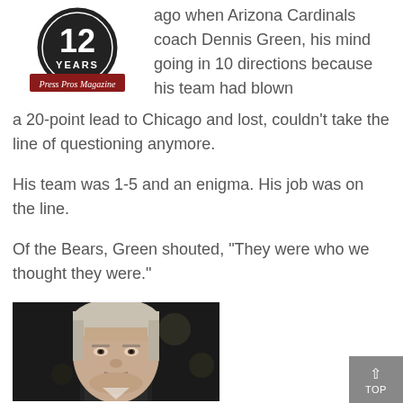[Figure (logo): Press Pros Magazine logo: black circle with '12 YEARS' text, red banner with 'Press Pros Magazine' in old English font]
ago when Arizona Cardinals coach Dennis Green, his mind going in 10 directions because his team had blown a 20-point lead to Chicago and lost, couldn't take the line of questioning anymore.
His team was 1-5 and an enigma. His job was on the line.
Of the Bears, Green shouted, “They were who we thought they were.”
[Figure (photo): Close-up photo of a middle-aged man with gray/blonde hair, looking at the camera, dark background with some bokeh lighting]